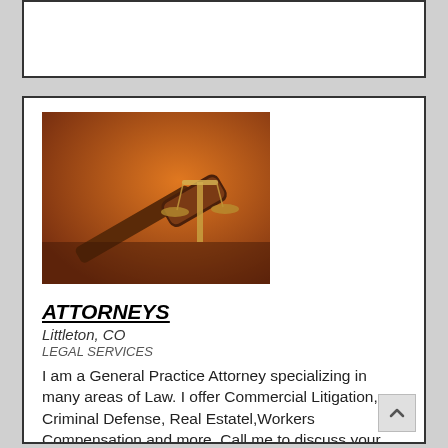[Figure (photo): Photo of a wooden gavel and scales of justice on a wooden surface, warm orange-brown tones.]
ATTORNEYS
Littleton, CO
LEGAL SERVICES
I am a General Practice Attorney specializing in many areas of Law. I offer Commercial Litigation, Criminal Defense, Real Estatel,Workers Compensation and more. Call me to discuss your legal needs.Men ... more
Rating: N/A
Member Since: 15-Dec-2008